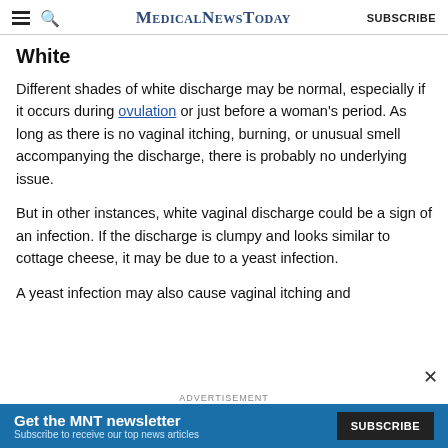MedicalNewsToday | SUBSCRIBE
White
Different shades of white discharge may be normal, especially if it occurs during ovulation or just before a woman's period. As long as there is no vaginal itching, burning, or unusual smell accompanying the discharge, there is probably no underlying issue.
But in other instances, white vaginal discharge could be a sign of an infection. If the discharge is clumpy and looks similar to cottage cheese, it may be due to a yeast infection.
A yeast infection may also cause vaginal itching and
[Figure (other): Advertisement banner: Get the MNT newsletter. Subscribe to receive our top news articles. SUBSCRIBE button.]